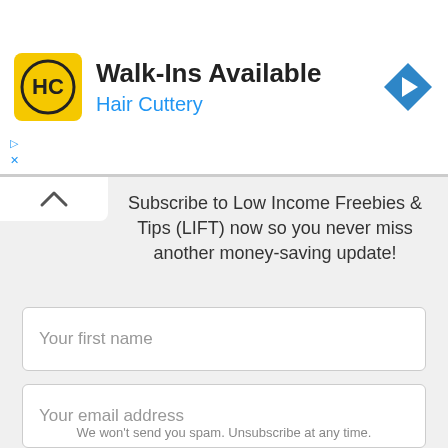[Figure (infographic): Hair Cuttery advertisement banner with logo, 'Walk-Ins Available' heading, 'Hair Cuttery' subtitle in blue, and a blue navigation arrow icon on the right.]
Subscribe to Low Income Freebies & Tips (LIFT) now so you never miss another money-saving update!
Your first name
Your email address
Subscribe
We won't send you spam. Unsubscribe at any time.